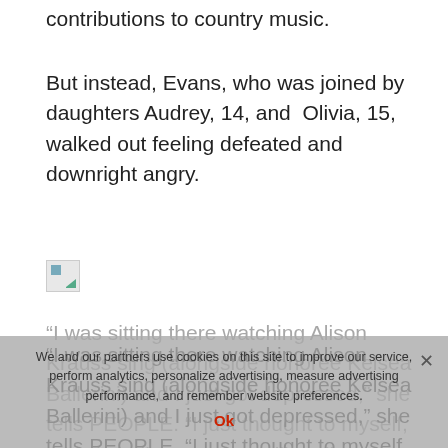contributions to country music.
But instead, Evans, who was joined by daughters Audrey, 14, and Olivia, 15, walked out feeling defeated and downright angry.
[Figure (other): Broken/missing image placeholder icon]
“I was sitting there watching Alison Krauss sing (alongside honoree Kelsea Ballerini) and I just got depressed,” she tells PEOPLE. “I just thought to myself, ‘This is bulls—.’ Women like Alison have made unbelievable music and has made powerful impacts on this genre, but we can’t get our music played. I felt like I was at a memorial following a death of some sort.”
We and our partners use cookies on this site to improve our service, perform analytics, personalize advertising, measure advertising performance, and remember website preferences.